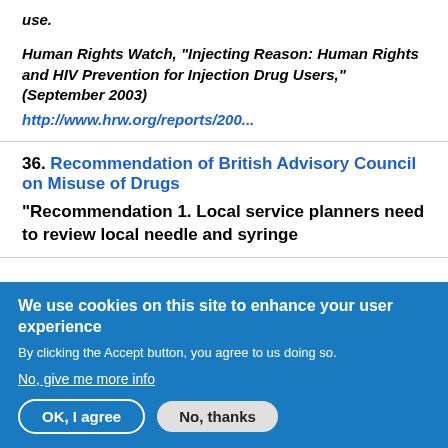use.
Human Rights Watch, "Injecting Reason: Human Rights and HIV Prevention for Injection Drug Users," (September 2003) http://www.hrw.org/reports/200...
36. Recommendation of British Advisory Council on Misuse of Drugs "Recommendation 1. Local service planners need to review local needle and syringe
We use cookies on this site to enhance your user experience
By clicking the Accept button, you agree to us doing so.
No, give me more info
OK, I agree    No, thanks